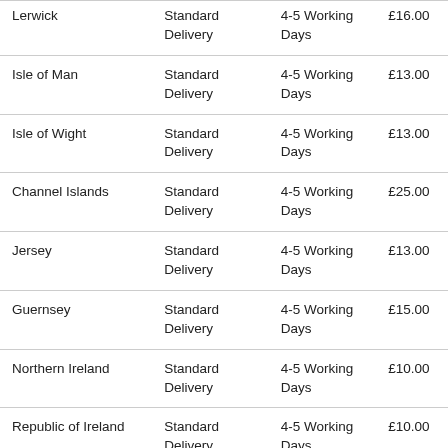| Lerwick | Standard Delivery | 4-5 Working Days | £16.00 |
| Isle of Man | Standard Delivery | 4-5 Working Days | £13.00 |
| Isle of Wight | Standard Delivery | 4-5 Working Days | £13.00 |
| Channel Islands | Standard Delivery | 4-5 Working Days | £25.00 |
| Jersey | Standard Delivery | 4-5 Working Days | £13.00 |
| Guernsey | Standard Delivery | 4-5 Working Days | £15.00 |
| Northern Ireland | Standard Delivery | 4-5 Working Days | £10.00 |
| Republic of Ireland | Standard Delivery | 4-5 Working Days | £10.00 |